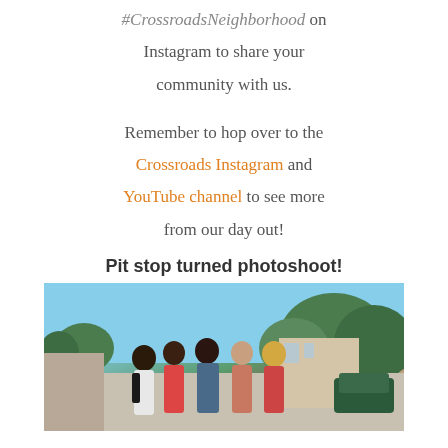#CrossroadsNeighborhood on Instagram to share your community with us.
Remember to hop over to the Crossroads Instagram and YouTube channel to see more from our day out!
Pit stop turned photoshoot!
[Figure (photo): Group of five women posing outdoors in a parking lot area with trees and buildings in the background, blue sky visible.]